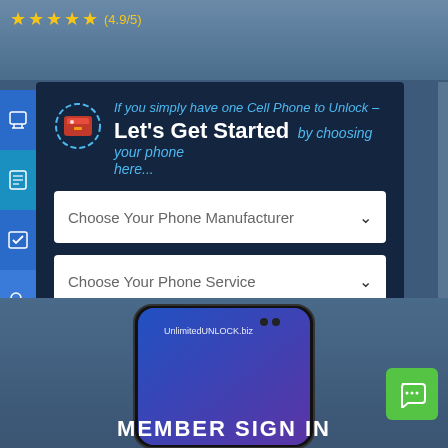★★★★½ (4.9/5)
If you simply have one Cell Phone to Unlock – Let's Get Started by choosing your phone here...
Choose Your Phone Manufacturer
Choose Your Phone Service
UNLOCK NOW
[Figure (screenshot): Bottom section showing a Samsung Galaxy S10+ phone with UnlimitedUNLOCK.biz text on screen, MEMBER SIGN IN text below, and a green chat button on the right.]